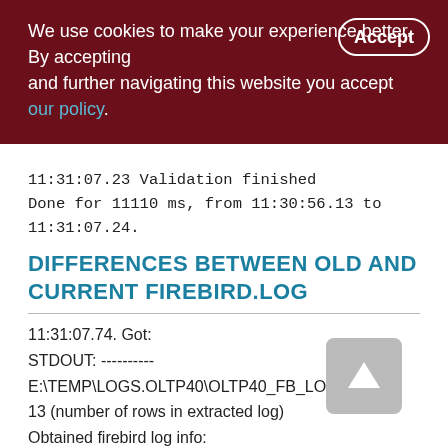We use cookies to make your experience better. By accepting and further navigating this website you accept our policy.
11:31:07.23 Validation finished
Done for 11110 ms, from 11:30:56.13 to 11:31:07.24.
DIFFERENCES BETWEEN OLD AND CURRENT FIREBIRD.LOG
11:31:07.74. Got:
STDOUT: ----------
E:\TEMP\LOGS.OLTP40\OLTP40_FB_LOG_WHEN_TEST_R
13 (number of rows in extracted log)
Obtained firebird log info: